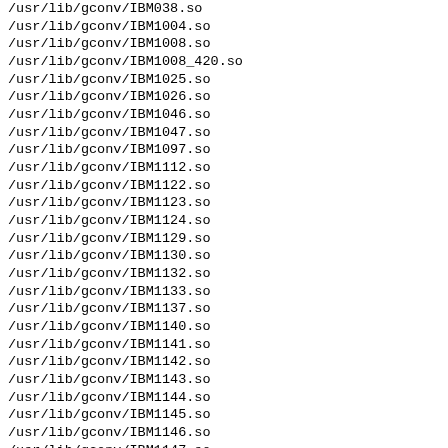/usr/lib/gconv/IBM038.so
/usr/lib/gconv/IBM1004.so
/usr/lib/gconv/IBM1008.so
/usr/lib/gconv/IBM1008_420.so
/usr/lib/gconv/IBM1025.so
/usr/lib/gconv/IBM1026.so
/usr/lib/gconv/IBM1046.so
/usr/lib/gconv/IBM1047.so
/usr/lib/gconv/IBM1097.so
/usr/lib/gconv/IBM1112.so
/usr/lib/gconv/IBM1122.so
/usr/lib/gconv/IBM1123.so
/usr/lib/gconv/IBM1124.so
/usr/lib/gconv/IBM1129.so
/usr/lib/gconv/IBM1130.so
/usr/lib/gconv/IBM1132.so
/usr/lib/gconv/IBM1133.so
/usr/lib/gconv/IBM1137.so
/usr/lib/gconv/IBM1140.so
/usr/lib/gconv/IBM1141.so
/usr/lib/gconv/IBM1142.so
/usr/lib/gconv/IBM1143.so
/usr/lib/gconv/IBM1144.so
/usr/lib/gconv/IBM1145.so
/usr/lib/gconv/IBM1146.so
/usr/lib/gconv/IBM1147.so
/usr/lib/gconv/IBM1148.so
/usr/lib/gconv/IBM1149.so
/usr/lib/gconv/IBM1153.so
/usr/lib/gconv/IBM1154.so
/usr/lib/gconv/IBM1155...